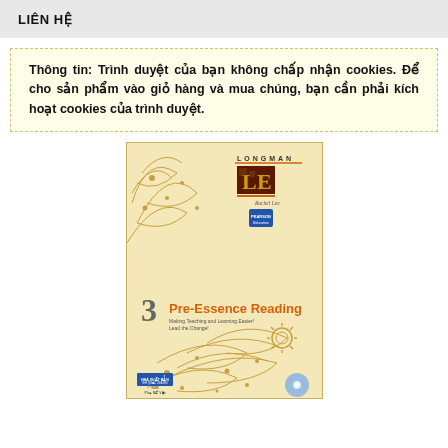LIÊN HỆ
Thông tin: Trình duyệt của bạn không chấp nhận cookies. Để cho sản phẩm vào giỏ hàng và mua chúng, bạn cần phải kích hoạt cookies của trình duyệt.
[Figure (photo): Book cover: Longman Pre-Essence Reading 3 by Rachel Lee, with decorative floral motifs on a cream/gold background, orange title text, and publisher logos at bottom.]